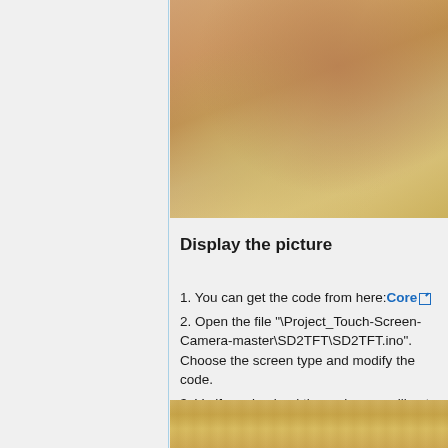[Figure (photo): Close-up photo of a hand holding or touching a wooden surface, with warm brown and golden tones — top portion of the page]
Display the picture
1. You can get the code from here:Core
2. Open the file "\Project_Touch-Screen-Camera-master\SD2TFT\SD2TFT.ino". Choose the screen type and modify the code.
3. Verify and upload the code, you will get a digital photo frame.
[Figure (photo): Close-up photo of wooden surface with warm golden-brown tones — bottom portion of the page]